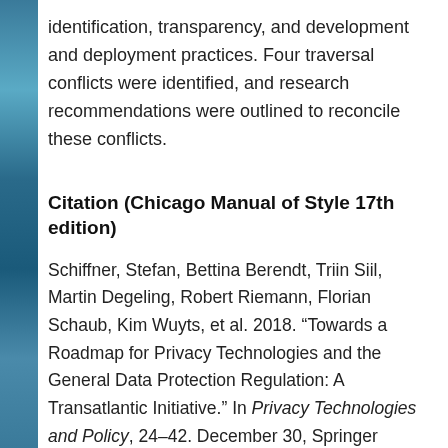identification, transparency, and development and deployment practices. Four traversal conflicts were identified, and research recommendations were outlined to reconcile these conflicts.
Citation (Chicago Manual of Style 17th edition)
Schiffner, Stefan, Bettina Berendt, Triin Siil, Martin Degeling, Robert Riemann, Florian Schaub, Kim Wuyts, et al. 2018. “Towards a Roadmap for Privacy Technologies and the General Data Protection Regulation: A Transatlantic Initiative.” In Privacy Technologies and Policy, 24–42. December 30, Springer International Publishing. https://doi.org/10.1007/978-3-030-02547-2_2.